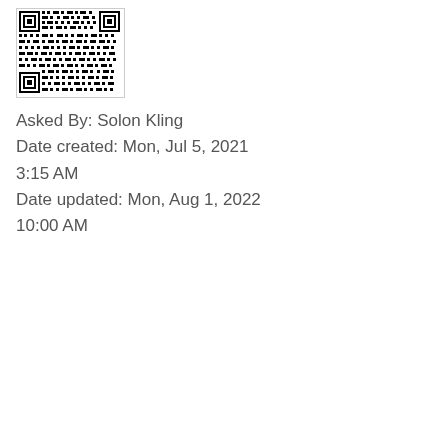[Figure (other): QR code image in a bordered box]
Asked By: Solon Kling
Date created: Mon, Jul 5, 2021 3:15 AM
Date updated: Mon, Aug 1, 2022 10:00 AM